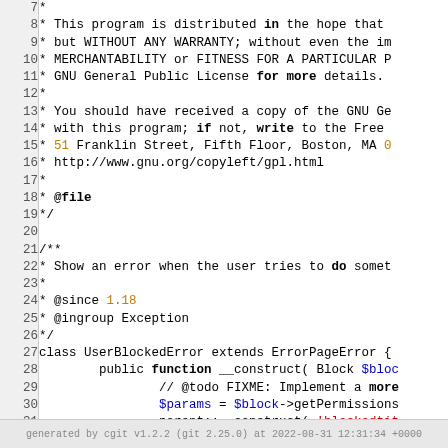[Figure (screenshot): Source code viewer showing lines 7-33 of a PHP file with GPL license comment block and class UserBlockedError definition. Line numbers on left, code on right. Partial lines visible due to horizontal clipping.]
generated by cgit v1.2.2 (git 2.25.0) at 2022-08-31 12:31:34 +0000